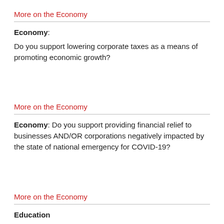More on the Economy
Economy: Do you support lowering corporate taxes as a means of promoting economic growth?
More on the Economy
Economy: Do you support providing financial relief to businesses AND/OR corporations negatively impacted by the state of national emergency for COVID-19?
More on the Economy
Education